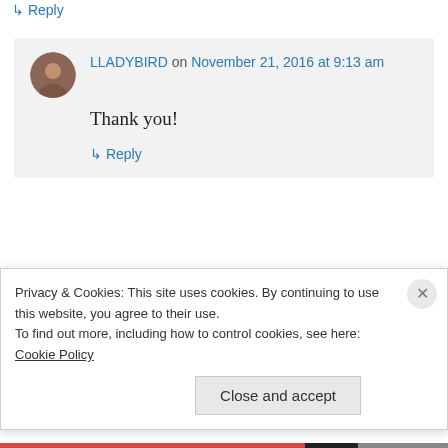↳ Reply
LLADYBIRD on November 21, 2016 at 9:13 am
Thank you!
↳ Reply
Robin Rodgers on November 20, 2016 at 6:06 pm
Privacy & Cookies: This site uses cookies. By continuing to use this website, you agree to their use. To find out more, including how to control cookies, see here: Cookie Policy
Close and accept